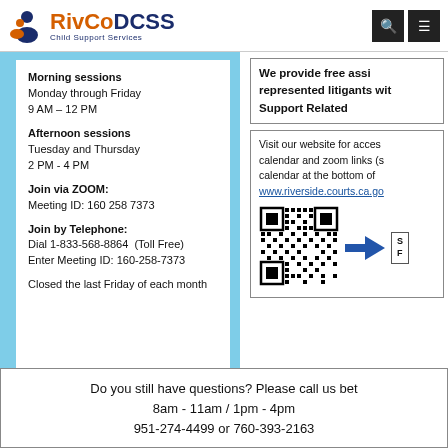[Figure (logo): RivCoDCSS Child Support Services logo with orange and blue text and a person icon]
Morning sessions
Monday through Friday
9 AM – 12 PM

Afternoon sessions
Tuesday and Thursday
2 PM - 4 PM

Join via ZOOM:
Meeting ID: 160 258 7373

Join by Telephone:
Dial 1-833-568-8864 (Toll Free)
Enter Meeting ID: 160-258-7373

Closed the last Friday of each month
We provide free assi represented litigants wit Support Related
Visit our website for acces calendar and zoom links (s calendar at the bottom of www.riverside.courts.ca.go
[Figure (other): QR code with blue arrow pointing to it and a label box on the right]
Do you still have questions? Please call us bet 8am - 11am / 1pm - 4pm 951-274-4499 or 760-393-2163